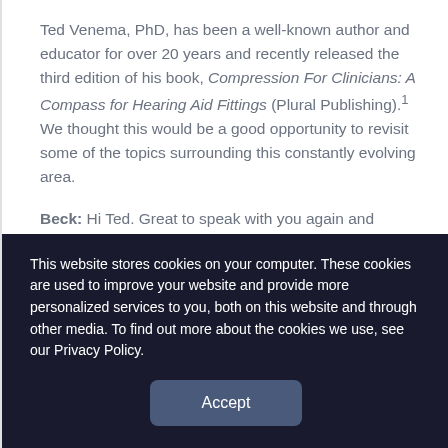Ted Venema, PhD, has been a well-known author and educator for over 20 years and recently released the third edition of his book, Compression For Clinicians: A Compass for Hearing Aid Fittings (Plural Publishing).¹ We thought this would be a good opportunity to revisit some of the topics surrounding this constantly evolving area.
Beck: Hi Ted. Great to speak with you again and congratulations on your latest book. I have to say, the book gets better with each edition and I can...
This website stores cookies on your computer. These cookies are used to improve your website and provide more personalized services to you, both on this website and through other media. To find out more about the cookies we use, see our Privacy Policy.